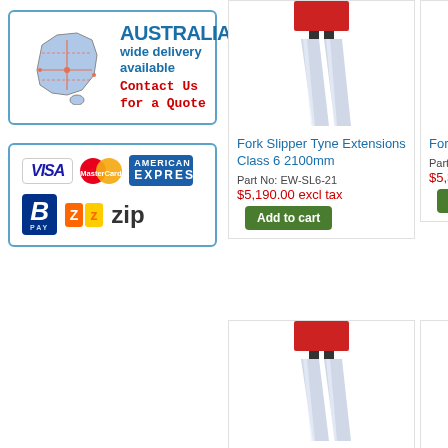[Figure (infographic): Australia wide delivery available banner with map of Australia. Contact Us for a Quote text in red.]
[Figure (infographic): Payment methods: Visa, MasterCard, American Express, BPay, Zip]
[Figure (photo): Fork Slipper Tyne Extensions Class 6 2100mm product image showing two silver fork tyne extensions on a red forklift]
Fork Slipper Tyne Extensions Class 6 2100mm
Part No: EW-SL6-21
$5,190.00 excl tax
Add to cart
[Figure (photo): Fork Slipper Tyne Extensions partially visible, second product column top]
Fork Slipp Extensions 2400mm
Part No: E
$5,330.00
Add to c
[Figure (photo): Fork Slipper Tyne Extensions Class 7 product image showing two silver fork tyne extensions on a red forklift]
Fork Slipper Tyne Extensions Class 7
[Figure (photo): Fork Slipper Tyne Extensions partially visible, second product column bottom]
Fork Slipp Extension